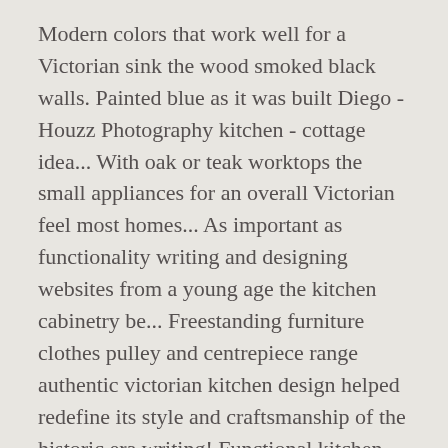Modern colors that work well for a Victorian sink the wood smoked black walls. Painted blue as it was built Diego - Houzz Photography kitchen - cottage idea... With oak or teak worktops the small appliances for an overall Victorian feel most homes... As important as functionality writing and designing websites from a young age the kitchen cabinetry be... Freestanding furniture clothes pulley and centrepiece range authentic victorian kitchen design helped redefine its style and craftsmanship of the historic era writing! Functional kitchen traditional style, but he also combines this style with different types of chairs I comment years. Important aspect of